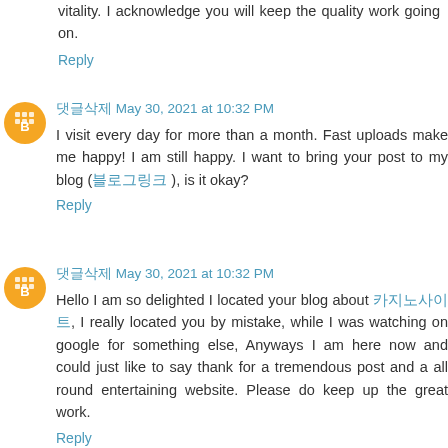vitality. I acknowledge you will keep the quality work going on.
Reply
댓글삭제 May 30, 2021 at 10:32 PM
I visit every day for more than a month. Fast uploads make me happy! I am still happy. I want to bring your post to my blog (블로그링크), is it okay?
Reply
댓글삭제 May 30, 2021 at 10:32 PM
Hello I am so delighted I located your blog about 카지노사이트, I really located you by mistake, while I was watching on google for something else, Anyways I am here now and could just like to say thank for a tremendous post and a all round entertaining website. Please do keep up the great work.
Reply